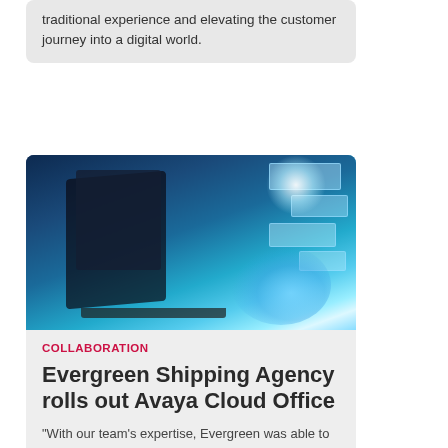traditional experience and elevating the customer journey into a digital world.
[Figure (photo): A person using a glowing laptop with holographic digital interface panels floating above it, against a blue-toned technology background.]
COLLABORATION
Evergreen Shipping Agency rolls out Avaya Cloud Office
"With our team's expertise, Evergreen was able to make the transition to remote work without compromise to the customer or employee